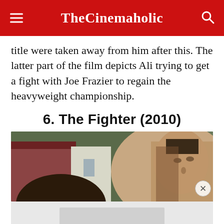TheCinemaholic
title were taken away from him after this. The latter part of the film depicts Ali trying to get a fight with Joe Frazier to regain the heavyweight championship.
6. The Fighter (2010)
[Figure (photo): Movie still from The Fighter (2010) showing a man's face in the foreground outdoors with a house in the background]
[Figure (other): Advertisement placeholder]